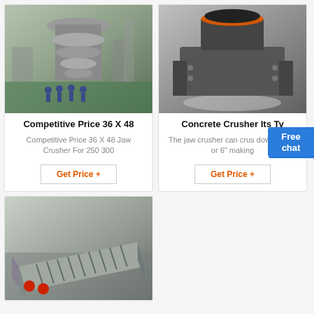[Figure (photo): Large industrial crusher machine with workers standing in front inside a factory]
Competitive Price 36 X 48
Competitive Price 36 X 48 Jaw Crusher For 250 300
Get Price +
[Figure (photo): Concrete crusher machine viewed from front in factory setting]
Concrete Crusher Its Ty
The jaw crusher can crus down the 4" or 6" making
Get Price +
[Figure (photo): Industrial vibrating feeder or screen on factory floor]
[Figure (infographic): Free chat bubble with female assistant icon]